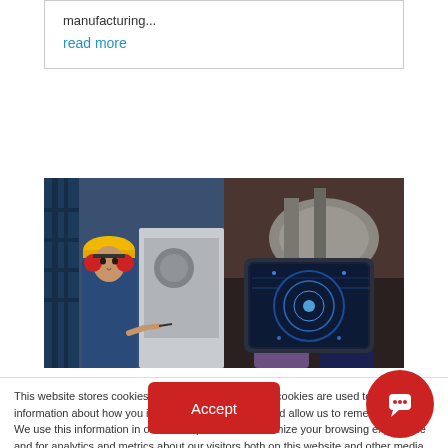manufacturing...
read more
[Figure (photo): Worker in yellow hard hat and blue coveralls with red ear defenders, writing notes next to industrial machinery in a factory setting]
[Figure (photo): Person holding a tablet with digital interface/data visualization, in an industrial environment]
This website stores cookies on your computer. These cookies are used to collect information about how you interact with our website and allow us to remember you. We use this information in order to improve and customize your browsing experience and for analytics and metrics about our visitors both on this website and other media. To find out more about the cookies we use, see our Privacy Policy
Accept